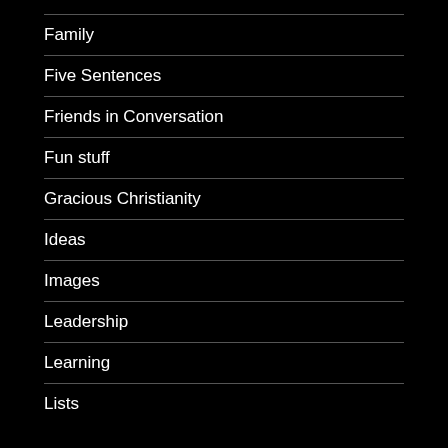Family
Five Sentences
Friends in Conversation
Fun stuff
Gracious Christianity
Ideas
Images
Leadership
Learning
Lists